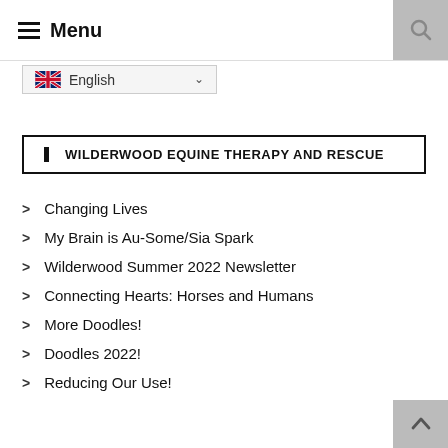Menu
English
WILDERWOOD EQUINE THERAPY AND RESCUE
Changing Lives
My Brain is Au-Some/Sia Spark
Wilderwood Summer 2022 Newsletter
Connecting Hearts: Horses and Humans
More Doodles!
Doodles 2022!
Reducing Our Use!